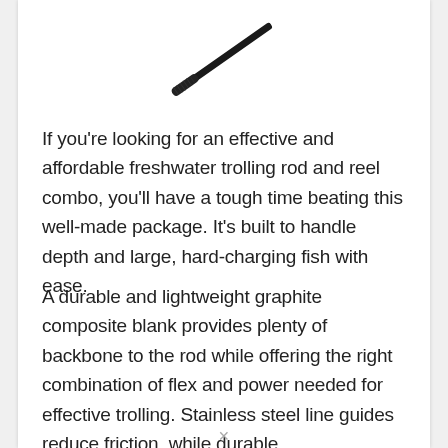[Figure (photo): A dark-colored fishing rod (trolling rod) shown diagonally against a white background, with the handle/grip end visible at lower left and the rod extending to upper right.]
If you're looking for an effective and affordable freshwater trolling rod and reel combo, you'll have a tough time beating this well-made package. It's built to handle depth and large, hard-charging fish with ease.
A durable and lightweight graphite composite blank provides plenty of backbone to the rod while offering the right combination of flex and power needed for effective trolling. Stainless steel line guides reduce friction, while durable